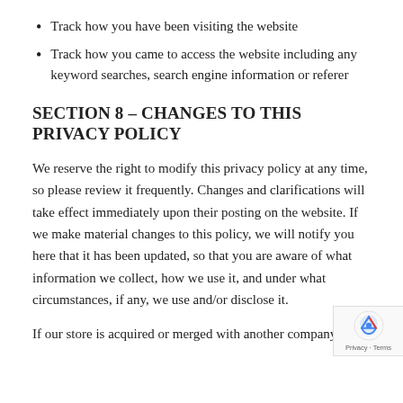Track how you have been visiting the website
Track how you came to access the website including any keyword searches, search engine information or referer
SECTION 8 – CHANGES TO THIS PRIVACY POLICY
We reserve the right to modify this privacy policy at any time, so please review it frequently. Changes and clarifications will take effect immediately upon their posting on the website. If we make material changes to this policy, we will notify you here that it has been updated, so that you are aware of what information we collect, how we use it, and under what circumstances, if any, we use and/or disclose it.
If our store is acquired or merged with another company,